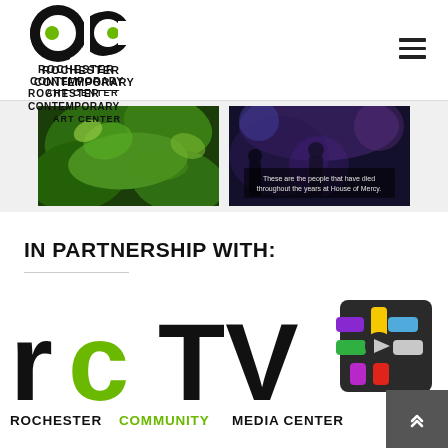Rochester Contemporary Art Center
[Figure (photo): Two video thumbnails side by side: left shows green leaves/nature scene, right shows a dark indoor scene with text overlay 'These are the people that have died throughout the years at House of Mercy']
IN PARTNERSHIP WITH:
[Figure (logo): RCTV Rochester Community Media Center logo — black and green bold text 'rcTV' with a colorful pinwheel/asterisk icon on the right and 'ROCHESTER COMMUNITY MEDIA CENTER' text below]